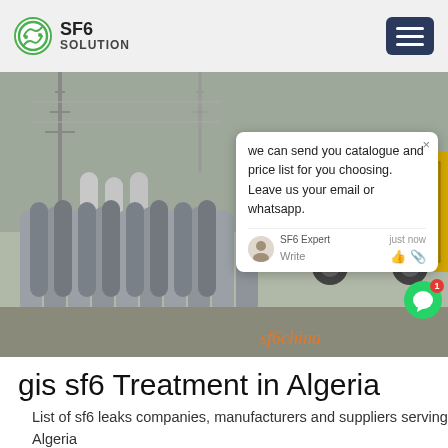SF6 SOLUTION
[Figure (photo): Industrial scene with SF6 gas cylinders lined up in front of a yellow truck at a power substation. A worker in a blue helmet is visible. A chat popup overlay is shown on the right side of the image with text: 'we can send you catalogue and price list for you choosing. Leave us your email or whatsapp.']
gis sf6 Treatment in Algeria
List of sf6 leaks companies, manufacturers and suppliers serving Algeria
Get Price